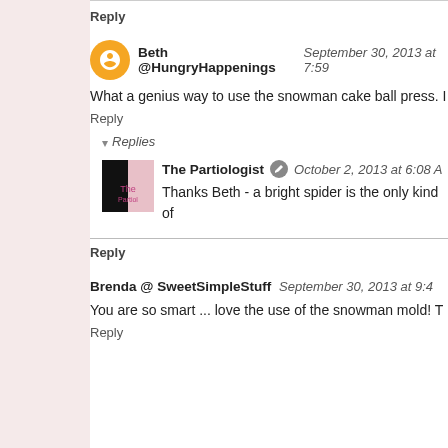Reply
Beth @HungryHappenings  September 30, 2013 at 7:59
What a genius way to use the snowman cake ball press. I
Reply
Replies
The Partiologist  October 2, 2013 at 6:08 A
Thanks Beth - a bright spider is the only kind of
Reply
Brenda @ SweetSimpleStuff  September 30, 2013 at 9:4
You are so smart ... love the use of the snowman mold! T
Reply